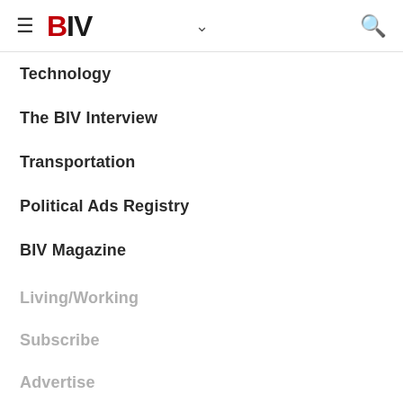BIV
Technology
The BIV Interview
Transportation
Political Ads Registry
BIV Magazine
Living/Working
Subscribe
Advertise
Digital Editions
Magazines
Contact BIV
Newsletters